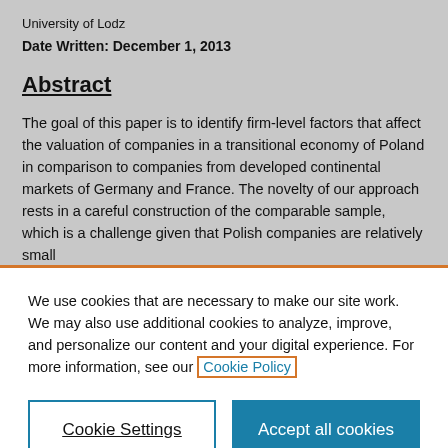University of Lodz
Date Written: December 1, 2013
Abstract
The goal of this paper is to identify firm-level factors that affect the valuation of companies in a transitional economy of Poland in comparison to companies from developed continental markets of Germany and France. The novelty of our approach rests in a careful construction of the comparable sample, which is a challenge given that Polish companies are relatively small
We use cookies that are necessary to make our site work. We may also use additional cookies to analyze, improve, and personalize our content and your digital experience. For more information, see our Cookie Policy
Cookie Settings
Accept all cookies